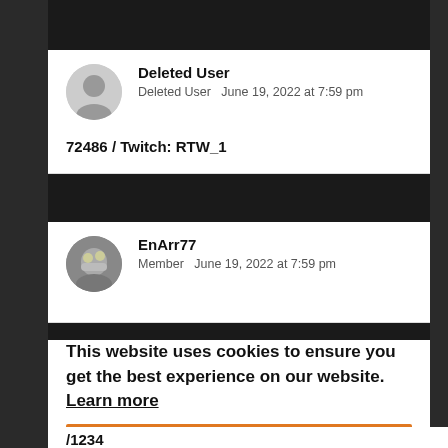Deleted User
Deleted User   June 19, 2022 at 7:59 pm
72486 / Twitch: RTW_1
EnArr77
Member   June 19, 2022 at 7:59 pm
This website uses cookies to ensure you get the best experience on our website. Learn more
Got it
/1234